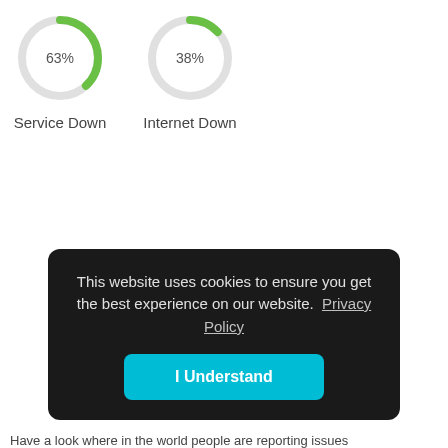[Figure (donut-chart): Service Down]
[Figure (donut-chart): Internet Down]
This website uses cookies to ensure you get the best experience on our website. Privacy Policy
I Understand
Have a look where in the world people are reporting issues